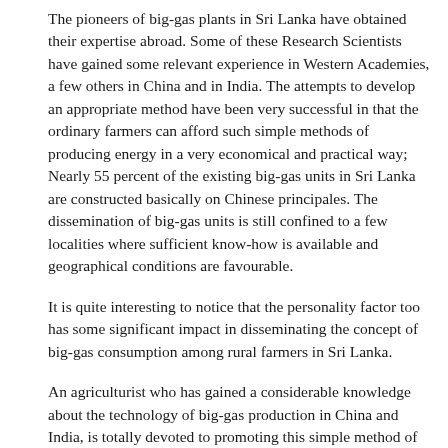The pioneers of big-gas plants in Sri Lanka have obtained their expertise abroad. Some of these Research Scientists have gained some relevant experience in Western Academies, a few others in China and in India. The attempts to develop an appropriate method have been very successful in that the ordinary farmers can afford such simple methods of producing energy in a very economical and practical way; Nearly 55 percent of the existing big-gas units in Sri Lanka are constructed basically on Chinese principales. The dissemination of big-gas units is still confined to a few localities where sufficient know-how is available and geographical conditions are favourable.
It is quite interesting to notice that the personality factor too has some significant impact in disseminating the concept of big-gas consumption among rural farmers in Sri Lanka.
An agriculturist who has gained a considerable knowledge about the technology of big-gas production in China and India, is totally devoted to promoting this simple method of energy